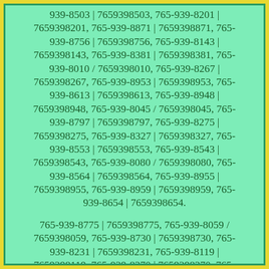939-8503 | 7659398503, 765-939-8201 | 7659398201, 765-939-8871 | 7659398871, 765-939-8756 | 7659398756, 765-939-8143 | 7659398143, 765-939-8381 | 7659398381, 765-939-8010 / 7659398010, 765-939-8267 | 7659398267, 765-939-8953 | 7659398953, 765-939-8613 | 7659398613, 765-939-8948 | 7659398948, 765-939-8045 / 7659398045, 765-939-8797 | 7659398797, 765-939-8275 | 7659398275, 765-939-8327 | 7659398327, 765-939-8553 | 7659398553, 765-939-8543 | 7659398543, 765-939-8080 / 7659398080, 765-939-8564 | 7659398564, 765-939-8955 | 7659398955, 765-939-8959 | 7659398959, 765-939-8654 | 7659398654.
765-939-8775 | 7659398775, 765-939-8059 / 7659398059, 765-939-8730 | 7659398730, 765-939-8231 | 7659398231, 765-939-8119 | 7659398119, 765-939-8270 | 7659398270, 765-939-8246 | 7659398246, 765-939-8780 | 7659398780, 765-939-8240 | 7659398240, 765-939-8058 / 7659398058, 765-939-8659 | 7659398659, 765-939-8478 | 7659398478, 765-939-8251 | 7659398251.